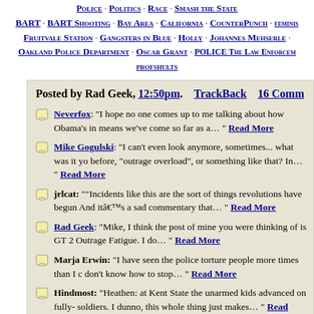Police · Politics · Race · Smash the State · BART · BART Shooting · Bay Area · California · CounterPunch · feminism · Fruitvale Station · Gangsters in Blue · Holly · Johannes Mehserle · Oakland Police Department · Oscar Grant · POLICE The Law Enforcement · profshults
Posted by Rad Geek, 12:50pm.    TrackBack    16 Comm
Neverfox: "I hope no one comes up to me talking about how Obama's in means we've come so far as a… " Read More
Mike Gogulski: "I can't even look anymore, sometimes... what was it you before, "outrage overload", or something like that? In… " Read More
jrlcat: ""Incidents like this are the sort of things revolutions have begun. And itâ€™s a sad commentary that… " Read More
Rad Geek: "Mike, I think the post of mine you were thinking of is GT 2 Outrage Fatigue. I do… " Read More
Marja Erwin: "I have seen the police torture people more times than I c don't know how to stop… " Read More
Hindmost: "Heathen: at Kent State the unarmed kids advanced on fully- soldiers. I dunno, this whole thing just makes… " Read More
Mike Gogulski: "@jrlcat and Rad Geek: No argument. I don't see any s imperative for the spectators to intervene, at… " Read More
jrlcat: "The BART cop was arrested for murder yesterday: OAKLAND Mehserle, the former BART police officer… " Read More